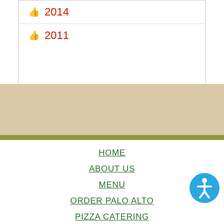2014
2011
HOME
ABOUT US
MENU
ORDER PALO ALTO
PIZZA CATERING
GLUTEN FREE
PALO ALTO EVENTS PARTIES
REVIEWS